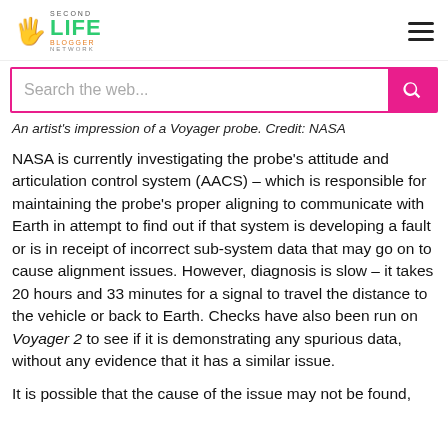Second Life Blogger Network
Search the web...
An artist's impression of a Voyager probe. Credit: NASA
NASA is currently investigating the probe's attitude and articulation control system (AACS) – which is responsible for maintaining the probe's proper aligning to communicate with Earth in attempt to find out if that system is developing a fault or is in receipt of incorrect sub-system data that may go on to cause alignment issues. However, diagnosis is slow – it takes 20 hours and 33 minutes for a signal to travel the distance to the vehicle or back to Earth. Checks have also been run on Voyager 2 to see if it is demonstrating any spurious data, without any evidence that it has a similar issue.
It is possible that the cause of the issue may not be found, and the mission team will have to find ways to work around it.